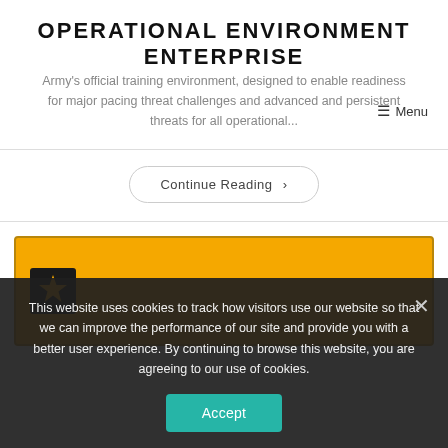OPERATIONAL ENVIRONMENT ENTERPRISE
Army's official training environment, designed to enable readiness for major pacing threat challenges and advanced and persistent threats for all operational...
☰ Menu
Continue Reading ›
[Figure (screenshot): Army star logo on gold/yellow background banner card]
This website uses cookies to track how visitors use our website so that we can improve the performance of our site and provide you with a better user experience. By continuing to browse this website, you are agreeing to our use of cookies.
Accept